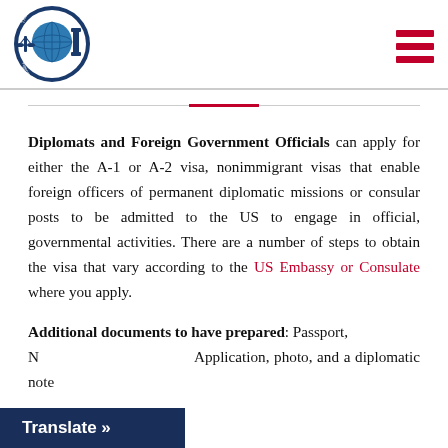[Figure (logo): The Law Firm of Figeroa & Associates circular logo with globe and scales of justice]
[Figure (other): Red hamburger/menu icon (three horizontal red bars) in top-right corner]
Diplomats and Foreign Government Officials can apply for either the A-1 or A-2 visa, nonimmigrant visas that enable foreign officers of permanent diplomatic missions or consular posts to be admitted to the US to engage in official, governmental activities. There are a number of steps to obtain the visa that vary according to the US Embassy or Consulate where you apply.
Additional documents to have prepared: Passport, [National Visa] Application, photo, and a diplomatic note